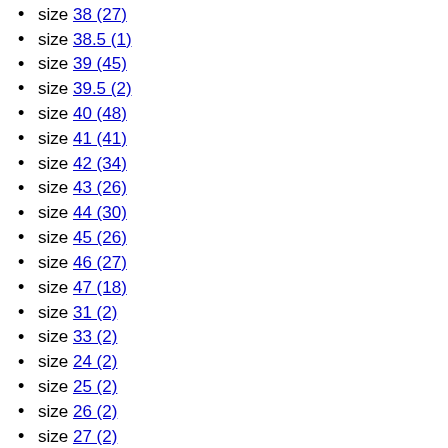size 38 (27)
size 38.5 (1)
size 39 (45)
size 39.5 (2)
size 40 (48)
size 41 (41)
size 42 (34)
size 43 (26)
size 44 (30)
size 45 (26)
size 46 (27)
size 47 (18)
size 31 (2)
size 33 (2)
size 24 (2)
size 25 (2)
size 26 (2)
size 27 (2)
size 28 (2)
size 29 (2)
size 48 (8)
size XXS (18)
size XS (26)
size S (41)
size M (37)